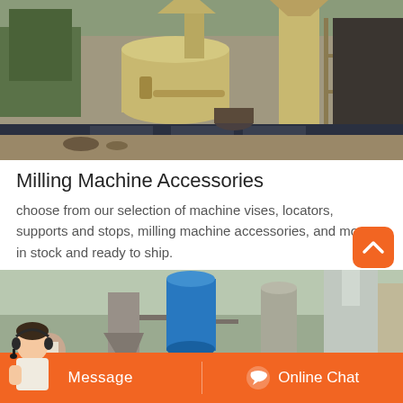[Figure (photo): Industrial milling machine installation with large cylindrical yellow/beige processing equipment, piping, and structural scaffolding in a construction or factory setting]
Milling Machine Accessories
choose from our selection of machine vises, locators, supports and stops, milling machine accessories, and more. in stock and ready to ship.
[Figure (photo): Industrial powder processing or milling plant with blue cylindrical tanks, dust collectors, conveyor systems, and processing equipment in an outdoor industrial setting]